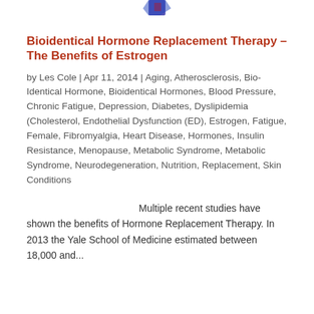[Figure (logo): Partial logo image at top center, blue/red colored graphic partially visible]
Bioidentical Hormone Replacement Therapy – The Benefits of Estrogen
by Les Cole | Apr 11, 2014 | Aging, Atherosclerosis, Bio-Identical Hormone, Bioidentical Hormones, Blood Pressure, Chronic Fatigue, Depression, Diabetes, Dyslipidemia (Cholesterol, Endothelial Dysfunction (ED), Estrogen, Fatigue, Female, Fibromyalgia, Heart Disease, Hormones, Insulin Resistance, Menopause, Metabolic Syndrome, Metabolic Syndrome, Neurodegeneration, Nutrition, Replacement, Skin Conditions
Multiple recent studies have shown the benefits of Hormone Replacement Therapy. In 2013 the Yale School of Medicine estimated between 18,000 and...